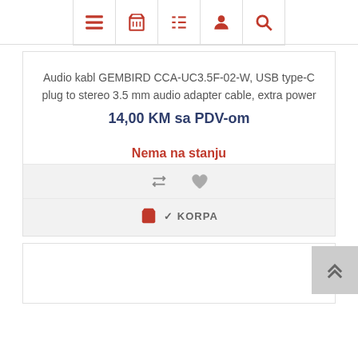Navigation bar with icons: menu, basket, list, user, search
Audio kabl GEMBIRD CCA-UC3.5F-02-W, USB type-C plug to stereo 3.5 mm audio adapter cable, extra power
14,00 KM sa PDV-om
Nema na stanju
✓ KORPA